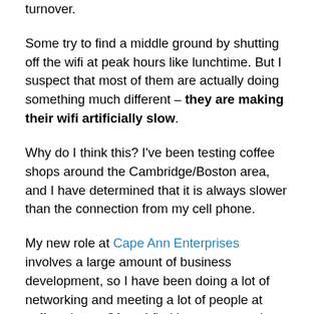turnover.
Some try to find a middle ground by shutting off the wifi at peak hours like lunchtime. But I suspect that most of them are actually doing something much different – they are making their wifi artificially slow.
Why do I think this? I've been testing coffee shops around the Cambridge/Boston area, and I have determined that it is always slower than the connection from my cell phone.
My new role at Cape Ann Enterprises involves a large amount of business development, so I have been doing a lot of networking and meeting a lot of people at coffee shops. Often, I find it most convenient to arrive 30-60 minutes before the meeting or stay after and get some work done on my laptop. And almost every time that I try to attach to the wifi in these coffee shops, I am struck by